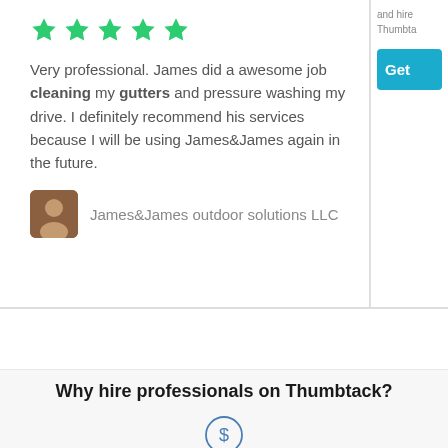[Figure (other): Five green star rating icons]
Very professional. James did a awesome job cleaning my gutters and pressure washing my drive. I definitely recommend his services because I will be using James&James again in the future.
James&James outdoor solutions LLC
and hire Thumbta...
[Figure (other): Blue Get button (partially visible)]
Why hire professionals on Thumbtack?
[Figure (other): Dollar sign icon inside a circle outline]
Free to use